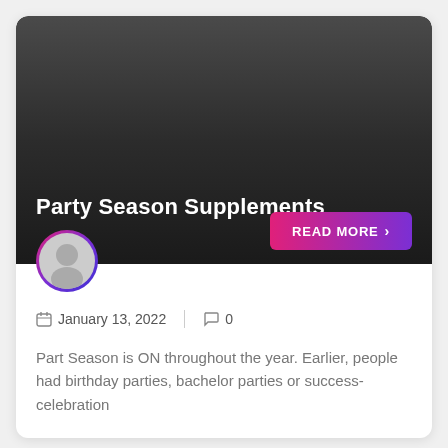[Figure (photo): Dark gradient image background for blog card header]
Party Season Supplements
January 13, 2022   0
Part Season is ON throughout the year. Earlier, people had birthday parties, bachelor parties or success-celebration